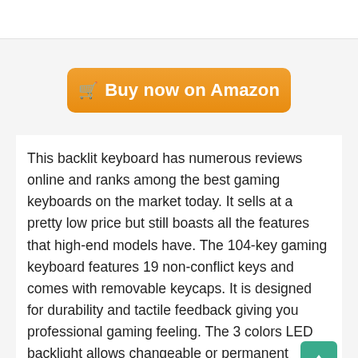[Figure (other): Orange 'Buy now on Amazon' button with shopping cart icon]
This backlit keyboard has numerous reviews online and ranks among the best gaming keyboards on the market today. It sells at a pretty low price but still boasts all the features that high-end models have. The 104-key gaming keyboard features 19 non-conflict keys and comes with removable keycaps. It is designed for durability and tactile feedback giving you professional gaming feeling. The 3 colors LED backlight allows changeable or permanent lighting mode. You can easily adjust the light when you are playing or working. It is easy to